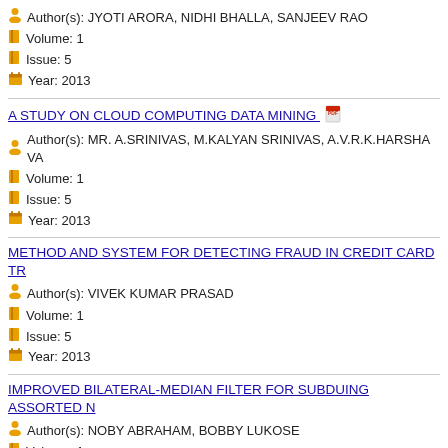Author(s): JYOTI ARORA, NIDHI BHALLA, SANJEEV RAO
Volume: 1
Issue: 5
Year: 2013
A STUDY ON CLOUD COMPUTING DATA MINING
Author(s): MR. A.SRINIVAS, M.KALYAN SRINIVAS, A.V.R.K.HARSHA VA
Volume: 1
Issue: 5
Year: 2013
METHOD AND SYSTEM FOR DETECTING FRAUD IN CREDIT CARD TR
Author(s): VIVEK KUMAR PRASAD
Volume: 1
Issue: 5
Year: 2013
IMPROVED BILATERAL-MEDIAN FILTER FOR SUBDUING ASSORTED N
Author(s): NOBY ABRAHAM, BOBBY LUKOSE
Volume: 1
Issue: 5
Year: 2013
SIMULATION AND IMPLEMENTATION OF HIGH GAIN INTERLEAVED BOOST CONVERTER FOR RENEWABLE ENERGY APPLICATIONS